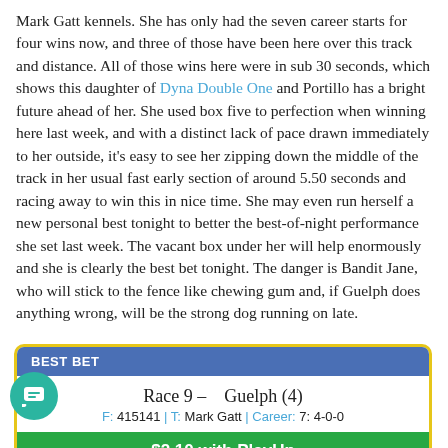Mark Gatt kennels. She has only had the seven career starts for four wins now, and three of those have been here over this track and distance. All of those wins here were in sub 30 seconds, which shows this daughter of Dyna Double One and Portillo has a bright future ahead of her. She used box five to perfection when winning here last week, and with a distinct lack of pace drawn immediately to her outside, it's easy to see her zipping down the middle of the track in her usual fast early section of around 5.50 seconds and racing away to win this in nice time. She may even run herself a new personal best tonight to better the best-of-night performance she set last week. The vacant box under her will help enormously and she is clearly the best bet tonight. The danger is Bandit Jane, who will stick to the fence like chewing gum and, if Guelph does anything wrong, will be the strong dog running on late.
| BEST BET |
| --- |
| Race 9 – Guelph (4) |
| F: 415141 | T: Mark Gatt | Career: 7: 4-0-0 |
| $2.10 with PlayUp |